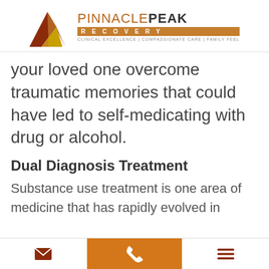[Figure (logo): Pinnacle Peak Recovery logo with mountain graphic and tagline: CLINICAL EXCELLENCE | COMPASSIONATE CARE | FAMILY FEEL]
your loved one overcome traumatic memories that could have led to self-medicating with drug or alcohol.
Dual Diagnosis Treatment
Substance use treatment is one area of medicine that has rapidly evolved in
[email icon] [phone icon] [menu icon]